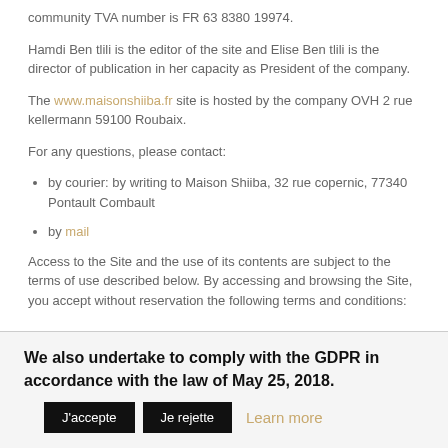community TVA number is FR 63 8380 19974.
Hamdi Ben tlili is the editor of the site and Elise Ben tlili is the director of publication in her capacity as President of the company.
The www.maisonshiiba.fr site is hosted by the company OVH 2 rue kellermann 59100 Roubaix.
For any questions, please contact:
by courier: by writing to Maison Shiiba, 32 rue copernic, 77340 Pontault Combault
by mail
Access to the Site and the use of its contents are subject to the terms of use described below. By accessing and browsing the Site, you accept without reservation the following terms and conditions:
We also undertake to comply with the GDPR in accordance with the law of May 25, 2018.